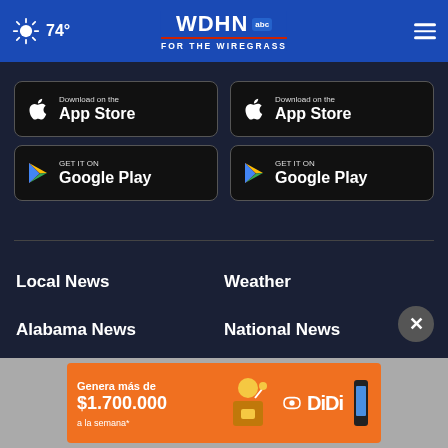74° WDHN ABC FOR THE WIREGRASS
[Figure (screenshot): App Store download button (black, Apple logo)]
[Figure (screenshot): Google Play download button (black, Play logo)]
[Figure (screenshot): App Store download button (black, Apple logo) - right column]
[Figure (screenshot): Google Play download button (black, Play logo) - right column]
Local News
Weather
Alabama News
National News
Local Sports
Sports
Meet the Team
Contact Us
[Figure (infographic): DiDi advertisement banner: Genera más de $1.700.000 a la semana*]